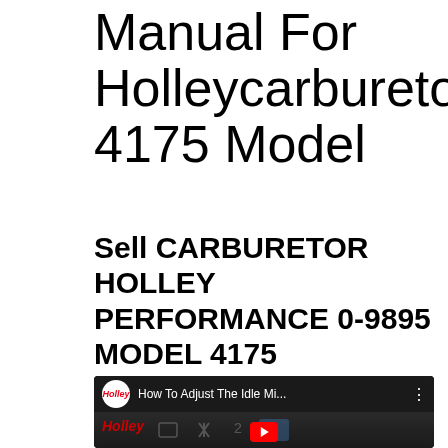Manual For Holleycarburetor 4175 Model
Sell CARBURETOR HOLLEY PERFORMANCE 0-9895 MODEL 4175
[Figure (screenshot): YouTube video thumbnail for Holley channel showing 'How To Adjust The Idle Mi...' with Holley logo, carburetor parts on dark background, and red play button]